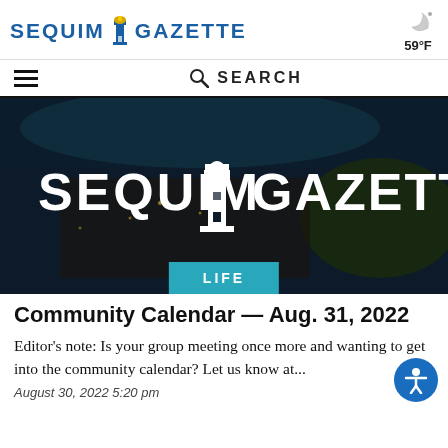SEQUIM GAZETTE — 59°F
[Figure (logo): Sequim Gazette logo with blue text and lighthouse icon between words]
[Figure (screenshot): Weather icon showing crescent moon with 59°F temperature]
SEARCH
[Figure (photo): Aerial night photo of Sequim with 'SEQUIM GAZETTE' white text overlay and lighthouse silhouette in center]
LIFE
Community Calendar — Aug. 31, 2022
Editor's note: Is your group meeting once more and wanting to get into the community calendar? Let us know at...
August 30, 2022 5:20 pm